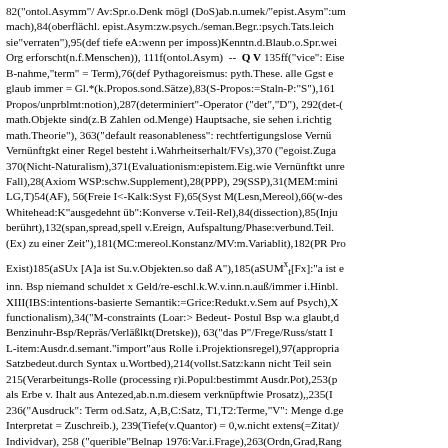82("ontol.Asymm"/ Av:Spr.o.Denk mögl (DoS)ab.n.umek/"epist.Asym":um mach),84(oberflächl. epist.Asym:zw.psych./seman.Begr.:psych.Tats.leich sie"verraten"),95(def tiefe eA:wenn per imposs)Kenntn.d.Blaub.o.Spr.wei Org erforscht(n.f.Menschen)), 111f(ontol.Asym)  --  Q V 135ff("vice": Eise B-nahme,"term" = Term),76(def Pythagoreismus: pyth.These. alle Ggst e glaub immer = Gl.*(k.Propos.sond.Sätze),83(S-Propos:=Staln-P:"S"),161 Propos/unprblmt:notion),287(determiniert"-Operator ("det","D"), 292(det-( math.Objekte sind(z.B Zahlen od.Menge) Hauptsache, sie sehen i.richtig math.Theorie"), 363("default reasonableness": rechtfertigungslose Vernü Vernünftgkt einer Regel besteht i.Wahrheitserhalt/FVs),370 ("egoist.Zuga 370(Nicht-Naturalism),371(Evaluationism:epistem.Eig.wie Vernünftkt unre Fall),28(Axiom WSP:schw.Supplement),28(PPP), 29(SSP),31(MEM:mini LG,T)54(AF), 56(Freie I<-Kalk:Syst F),65(Syst M(Lesn,Mereol),66(w-des Whitehead:K"ausgedehnt üb":Konverse v.Teil-Rel),84(dissection),85(Inju berührt),132(span,spread,spell v.Ereign, Aufspaltung/Phase:verbund.Teil. (Ex) zu einer Zeit"),181(MC:mereol.Konstanz/MV:m.Variablit),182(PR Pro Exist)185(aSUx [A]a ist Su.v.Objekten.so daß A"),185(aSUMˣₜ[Fx]:"a ist e inn. Bsp niemand schuldet x Geld/re-eschl.k.W.v.inn.n.auß/immer i.Hinbl. XIII(IBS:intentions-basierte Semantik:=Grice:Redukt.v.Sem auf Psych),X functionalism),34("M-constraints (Loar:> Bedeut- Postul Bsp w.a glaubt,d Benzinuhr-Bsp/Repräs/Verläßlkt(Dretske)), 63("das P"/Frege/Russ/statt I L-item:Ausdr.d.semant."import"aus Rolle i.Projektionsregel),97(appropria Satzbedeut.durch Syntax u.Wortbed),214(vollst.Satz:kann nicht Teil sein 215(Verarbeitungs-Rolle (processing r)i.Popul:bestimmt Ausdr.Pot),253(p als Erbe v. Ihalt aus Antezed,ab.n.m.diesem verknüpftwie Prosatz),,235(I 236("Ausdruck": Term od.Satz, A,B,C:Satz, T1,T2:Terme,"V": Menge d.ge Interpretat = Zuschreib.), 239(Tiefe(v.Quantor) = 0,w.nicht extens(=Zitat)/ Individvar), 258 ("querible"Belnap 1976:Var.i.Frage),263(Ordn,Grad,Rang reflektierend/auch i.Konversation:WH statt "das ist wahr"),326(CGB Ante 330("thatt" fiktiv verfügbarer atom.Prosatz/ref.nicht), 334(Englisch*:ohne